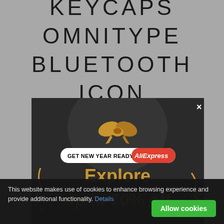KEYCAPS OMNITYPE BLUETOOTH ICON
[Figure (screenshot): AliExpress advertisement popup with dark background showing a gift bow, 'GET NEW YEAR READY AliExpress' badge, and text 'Explore up to 70% off' in gold/amber color with decorative confetti ribbons. Has an X close button in the top right.]
This website makes use of cookies to enhance browsing experience and provide additional functionality. Details
Allow cookies